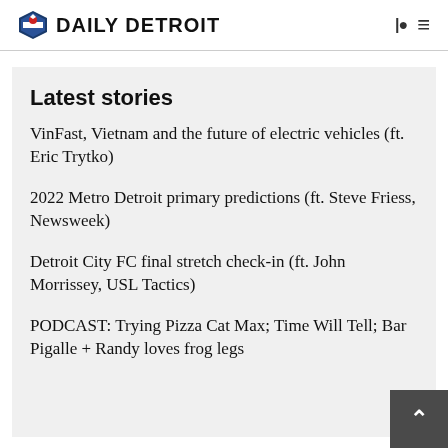DAILY DETROIT
Latest stories
VinFast, Vietnam and the future of electric vehicles (ft. Eric Trytko)
2022 Metro Detroit primary predictions (ft. Steve Friess, Newsweek)
Detroit City FC final stretch check-in (ft. John Morrissey, USL Tactics)
PODCAST: Trying Pizza Cat Max; Time Will Tell; Bar Pigalle + Randy loves frog legs